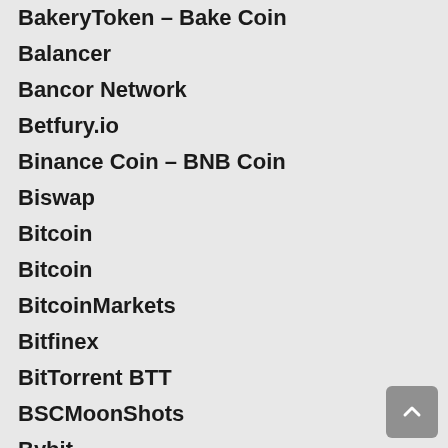BakeryToken – Bake Coin
Balancer
Bancor Network
Betfury.io
Binance Coin – BNB Coin
Biswap
Bitcoin
Bitcoin
BitcoinMarkets
Bitfinex
BitTorrent BTT
BSCMoonShots
Bybit